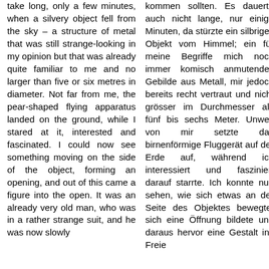take long, only a few minutes, when a silvery object fell from the sky – a structure of metal that was still strange-looking in my opinion but that was already quite familiar to me and no larger than five or six metres in diameter. Not far from me, the pear-shaped flying apparatus landed on the ground, while I stared at it, interested and fascinated. I could now see something moving on the side of the object, forming an opening, and out of this came a figure into the open. It was an already very old man, who was in a rather strange suit, and he was now slowly
kommen sollten. Es dauerte auch nicht lange, nur einige Minuten, da stürzte ein silbriges Objekt vom Himmel; ein für meine Begriffe mich noch immer komisch anmutendes Gebilde aus Metall, mir jedoch bereits recht vertraut und nicht grösser im Durchmesser als fünf bis sechs Meter. Unweit von mir setzte das birnenförmige Fluggerät auf der Erde auf, während ich interessiert und fasziniert darauf starrte. Ich konnte nun sehen, wie sich etwas an der Seite des Objektes bewegte, sich eine Öffnung bildete und daraus hervor eine Gestalt ins Freie